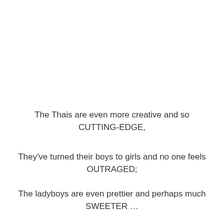The Thais are even more creative and so CUTTING-EDGE,
They've turned their boys to girls and no one feels OUTRAGED;
The ladyboys are even prettier and perhaps much SWEETER …